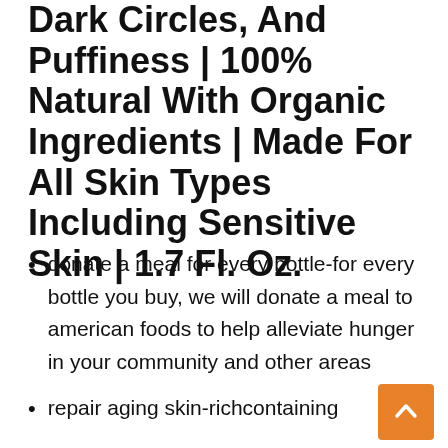Dark Circles, And Puffiness | 100% Natural With Organic Ingredients | Made For All Skin Types Including Sensitive Skin | 1.7 Fl. Oz.
donate a meal for every bottle-for every bottle you buy, we will donate a meal to american foods to help alleviate hunger in your community and other areas
repair aging skin-richcontaining